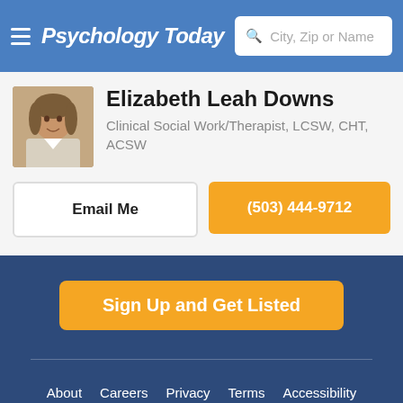Psychology Today — City, Zip or Name search bar
Elizabeth Leah Downs
Clinical Social Work/Therapist, LCSW, CHT, ACSW
Email Me
(503) 444-9712
Sign Up and Get Listed
About   Careers   Privacy   Terms   Accessibility
🇺🇸 United States
© 2022 Sussex Directories Inc.